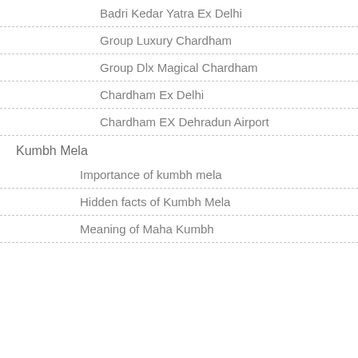Badri Kedar Yatra Ex Delhi
Group Luxury Chardham
Group Dlx Magical Chardham
Chardham Ex Delhi
Chardham EX Dehradun Airport
Kumbh Mela
Importance of kumbh mela
Hidden facts of Kumbh Mela
Meaning of Maha Kumbh